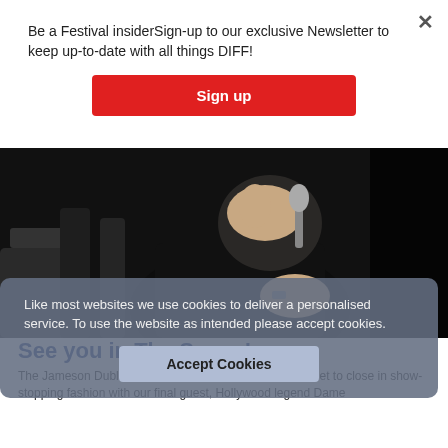Be a Festival insiderSign-up to our exclusive Newsletter to keep up-to-date with all things DIFF!
Sign up
[Figure (photo): Black and white photo of a person seated, holding a microphone, head partially obscured by their hand, at what appears to be a film festival event.]
Like most websites we use cookies to deliver a personalised service. To use the website as intended please accept cookies.
Accept Cookies
See you in The Savoy!
The Jameson Dublin International Film Festival 2015 is set to close in show-stopping fashion with our final guest, Hollywood legend Dame